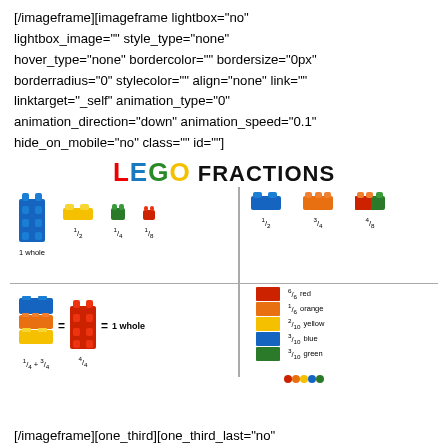[/imageframe][imageframe lightbox="no" lightbox_image="" style_type="none" hover_type="none" bordercolor="" bordersize="0px" borderradius="0" stylecolor="" align="none" link="" linktarget="_self" animation_type="0" animation_direction="down" animation_speed="0.1" hide_on_mobile="no" class="" id=""]
[Figure (infographic): LEGO Fractions educational diagram showing LEGO bricks representing fractions 1 whole, 1/2, 1/4, 1/8 in top-left quadrant; 1/2, 3/4, 4/8 in top-right; addition 1/4 + 3/4 = 4/4 = 1 whole in bottom-left; color legend (red 6/6, orange 1/6, yellow 2/10, blue 3/10, green 3/10) in bottom-right.]
[/imageframe][one_third][one_third_last="no"